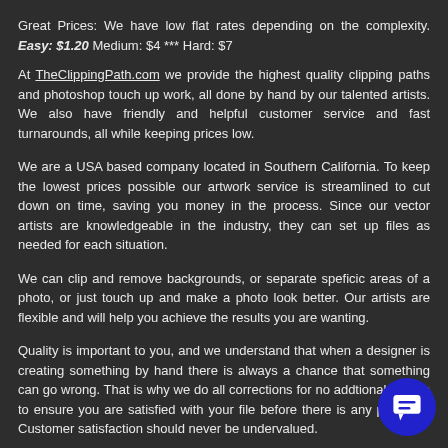Great Prices: We have low flat rates depending on the complexity. Easy: $1.20 Medium: $4 *** Hard: $7
At TheClippingPath.com we provide the highest quality clipping paths and photoshop touch up work, all done by hand by our talented artists. We also have friendly and helpful customer service and fast turnarounds, all while keeping prices low.
We are a USA based company located in Southern California. To keep the lowest prices possible our artwork service is streamlined to cut down on time, saving you money in the process. Since our vector artists are knowledgeable in the industry, they can set up files as needed for each situation.
We can clip and remove backgrounds, or separate speficic areas of a photo, or just touch up and make a photo look better. Our artists are flexible and will help you achieve the results you are wanting.
Quality is important to you, and we understand that when a designer is creating something by hand there is always a chance that something can go wrong. That is why we do all corrections for no addtional charge to ensure you are satisfied with your file before there is any payment. Customer satisfaction should never be undervalued.
[Figure (other): Blue circular chat button with speech bubble icon in bottom right corner]